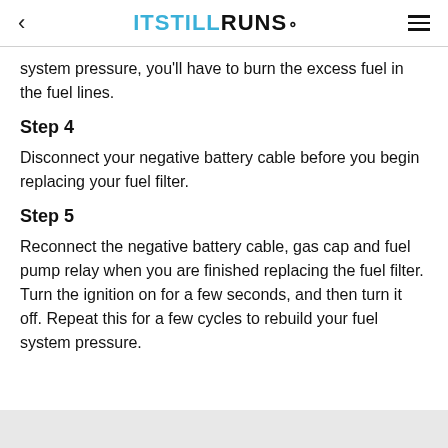< ITSTILLRUNS.
system pressure, you'll have to burn the excess fuel in the fuel lines.
Step 4
Disconnect your negative battery cable before you begin replacing your fuel filter.
Step 5
Reconnect the negative battery cable, gas cap and fuel pump relay when you are finished replacing the fuel filter. Turn the ignition on for a few seconds, and then turn it off. Repeat this for a few cycles to rebuild your fuel system pressure.